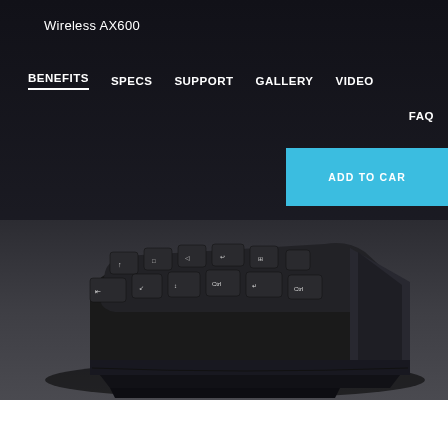Wireless AX600
BENEFITS   SPECS   SUPPORT   GALLERY   VIDEO   FAQ
[Figure (screenshot): ADD TO CART button (cyan/blue background, white text, partially visible on right side)]
[Figure (photo): Close-up photo of a black gaming keyboard (Wireless AX600) shot from an angle, showing the top row of keys with white icons, on a dark gray gradient background]